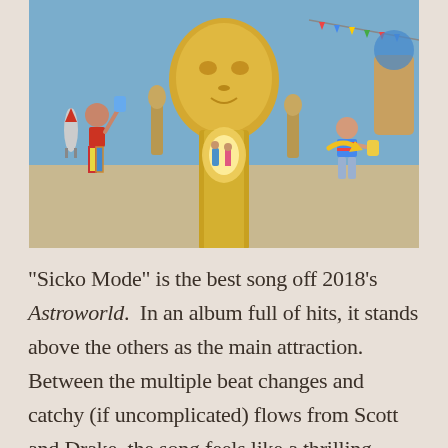[Figure (photo): Album cover or promotional photo for Travis Scott's Astroworld (2018). A carnival/fair scene with a large golden face sculpture in the background. On the left, a child in a red shirt and colorful striped pants holds a drink and a rocket. In the center, people walk toward the golden face. On the right, another child in a striped shirt holds a drink. Colorful banners and carnival rides visible. Blue sky background.]
“Sicko Mode” is the best song off 2018’s Astroworld. In an album full of hits, it stands above the others as the main attraction. Between the multiple beat changes and catchy (if uncomplicated) flows from Scott and Drake, the song feels like a thrilling rollercoaster, the kind where you’re ready to ride again as soon as you get off.